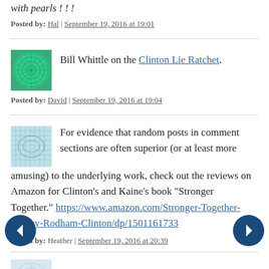with pearls ! ! !
Posted by: Hal | September 19, 2016 at 19:01
Bill Whittle on the Clinton Lie Ratchet.
Posted by: David | September 19, 2016 at 19:04
For evidence that random posts in comment sections are often superior (or at least more amusing) to the underlying work, check out the reviews on Amazon for Clinton's and Kaine's book "Stronger Together." https://www.amazon.com/Stronger-Together-Hillary-Rodham-Clinton/dp/1501161733
Posted by: Heather | September 19, 2016 at 20:39
re-enact frankie vaughn style money shots